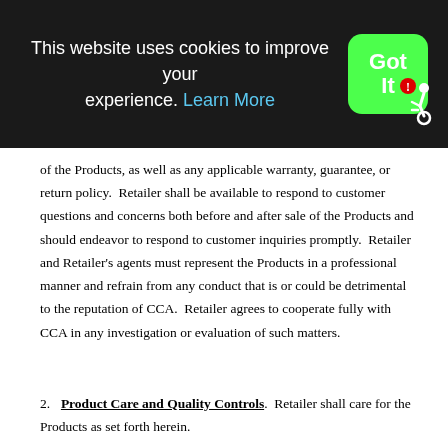This website uses cookies to improve your experience. Learn More | Got It
of the Products, as well as any applicable warranty, guarantee, or return policy. Retailer shall be available to respond to customer questions and concerns both before and after sale of the Products and should endeavor to respond to customer inquiries promptly. Retailer and Retailer's agents must represent the Products in a professional manner and refrain from any conduct that is or could be detrimental to the reputation of CCA. Retailer agrees to cooperate fully with CCA in any investigation or evaluation of such matters.
2. Product Care and Quality Controls. Retailer shall care for the Products as set forth herein.